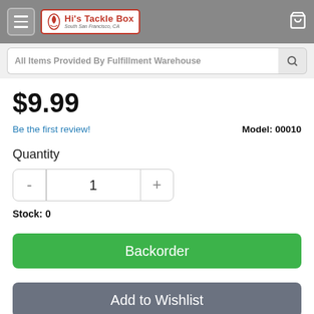Hi's Tackle Box — South San Francisco, CA
All Items Provided By Fulfillment Warehouse
$9.99
Be the first review!   Model: 00010
Quantity
Stock: 0
Backorder
Add to Wishlist